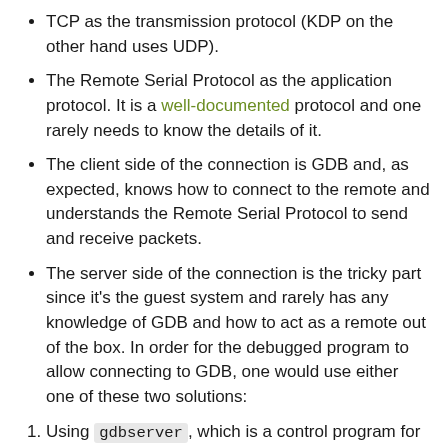TCP as the transmission protocol (KDP on the other hand uses UDP).
The Remote Serial Protocol as the application protocol. It is a well-documented protocol and one rarely needs to know the details of it.
The client side of the connection is GDB and, as expected, knows how to connect to the remote and understands the Remote Serial Protocol to send and receive packets.
The server side of the connection is the tricky part since it's the guest system and rarely has any knowledge of GDB and how to act as a remote out of the box. In order for the debugged program to allow connecting to GDB, one would use either one of these two solutions:
Using gdbserver, which is a control program for Unix-like systems that allows you to connect your program with a remote GDB. It can be a good option if